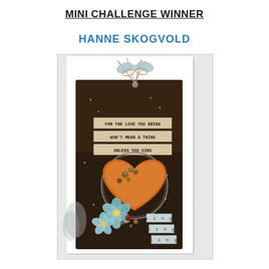MINI CHALLENGE WINNER
HANNE SKOGVOLD
[Figure (photo): A decorative handmade tag craft featuring a dark background with a twine and ribbon bow at the top, an orange distressed heart shape in the center surrounded by a wire circle, light blue flowers at the bottom left, and stamped text reading 'FOR THE LOVE YOU BRING WON'T MEAN A THING UNLESS YOU SING' with repeated 'sing' lettering stamps at the bottom right.]